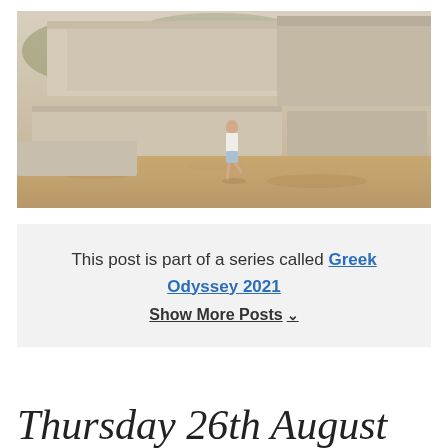[Figure (photo): Person standing among large ancient stone ruins/blocks on a rocky hillside with dry vegetation]
This post is part of a series called Greek Odyssey 2021
Show More Posts ∨
Thursday 26th August